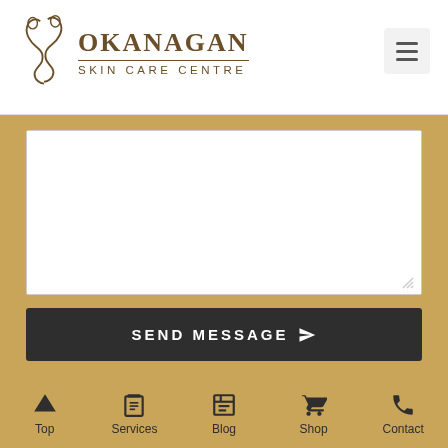[Figure (logo): Okanagan Skin Care Centre logo with stylized face profile and text]
[Figure (screenshot): Contact form textarea (empty message input field)]
SEND MESSAGE
Address:
204 - 3220 Richter St
Top  Services  Blog  Shop  Contact